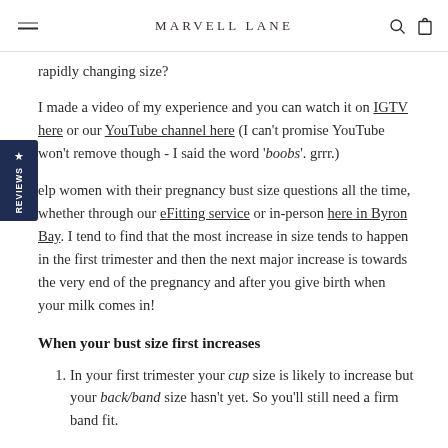MARVELL LANE
rapidly changing size?
I made a video of my experience and you can watch it on IGTV here or our YouTube channel here (I can't promise YouTube won't remove though - I said the word 'boobs'. grrr.)
elp women with their pregnancy bust size questions all the time, whether through our eFitting service or in-person here in Byron Bay. I tend to find that the most increase in size tends to happen in the first trimester and then the next major increase is towards the very end of the pregnancy and after you give birth when your milk comes in!
When your bust size first increases
In your first trimester your cup size is likely to increase but your back/band size hasn't yet. So you'll still need a firm band fit.